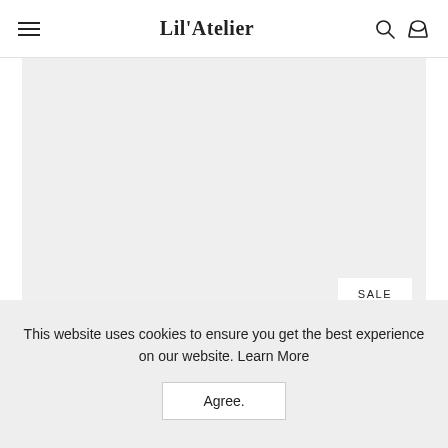Lil'Atelier
[Figure (photo): Product image area with light grey background and a SALE badge in the bottom right corner]
This website uses cookies to ensure you get the best experience on our website. Learn More
Agree.